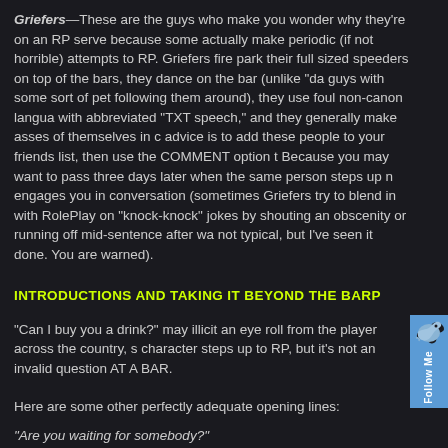Griefers—These are the guys who make you wonder why they're on an RP server, because some actually make periodic (if not horrible) attempts to RP. Griefers fire park their full sized speeders on top of the bars, they dance on the bar (unlike "da guys with some sort of pet following them around), they use foul non-canon langua with abbreviated "TXT speech," and they generally make asses of themselves in c advice is to add these people to your friends list, then use the COMMENT option t Because you may want to pass three days later when the same person steps up n engages you in conversation (sometimes Griefers try to blend in with RolePlay on "knock-knock" jokes by shouting an obscenity or running off mid-sentence after wa not typical, but I've seen it done. You are warned).
INTRODUCTIONS AND TAKING IT BEYOND THE BARP
"Can I buy you a drink?" may illicit an eye roll from the player across the country, s character steps up to RP, but it's not an invalid question AT A BAR.
Here are some other perfectly adequate opening lines:
"Are you waiting for somebody?"